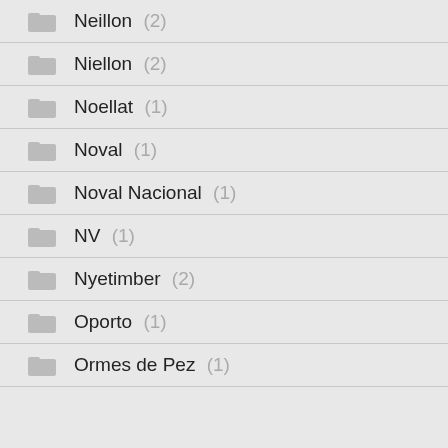Neillon (2)
Niellon (2)
Noellat (1)
Noval (1)
Noval Nacional (1)
NV (1)
Nyetimber (2)
Oporto (1)
Ormes de Pez (1)